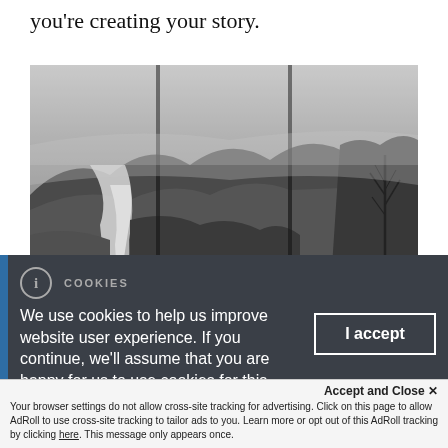you're creating your story.
[Figure (photo): Black and white panoramic photograph displayed as a triptych or multi-panel artwork showing a dramatic mountain landscape with a waterfall, rocky terrain, misty atmosphere, and bare trees on the right side.]
COOKIES
We use cookies to help us improve website user experience. If you continue, we'll assume that you are happy for us to use cookies for this
I accept
Accept and Close ✕
Your browser settings do not allow cross-site tracking for advertising. Click on this page to allow AdRoll to use cross-site tracking to tailor ads to you. Learn more or opt out of this AdRoll tracking by clicking here. This message only appears once.